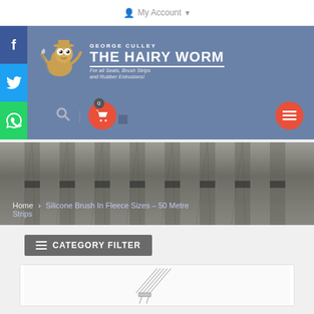My Account
[Figure (logo): George Culley The Hairy Worm logo with cartoon worm character. Tagline: For all Seals, Brush Strips and Rubber Extrusions!]
[Figure (photo): Close-up photo of brush strips/seals showing multiple rows of hairy/brush material in grey tones]
Home > Silicone Brush In Fleece Sizes – 50 Metre Strips
CATEGORY FILTER
[Figure (photo): Partial view of a product item card showing what appears to be a brush strip product]